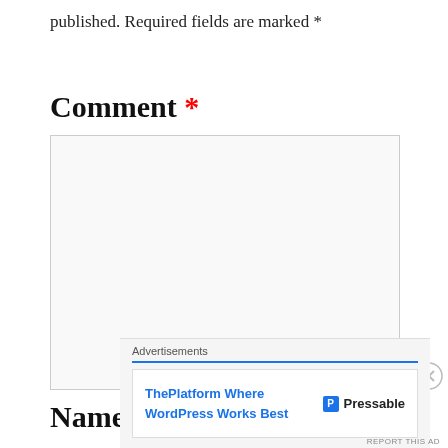published. Required fields are marked *
Comment *
[Figure (other): Large empty comment text area input box with resize handle]
Name *
[Figure (other): Advertisement overlay: ThePlatform Where WordPress Works Best | Pressable]
REPORT THIS AD